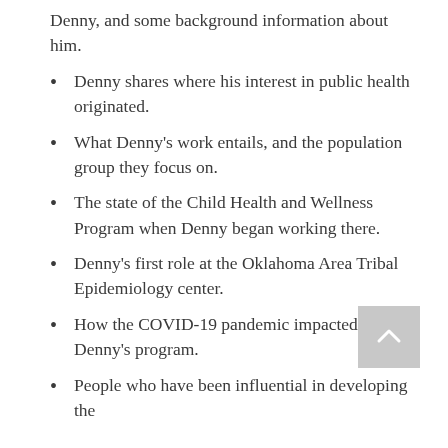Denny, and some background information about him.
Denny shares where his interest in public health originated.
What Denny's work entails, and the population group they focus on.
The state of the Child Health and Wellness Program when Denny began working there.
Denny's first role at the Oklahoma Area Tribal Epidemiology center.
How the COVID-19 pandemic impacted Denny's program.
People who have been influential in developing the